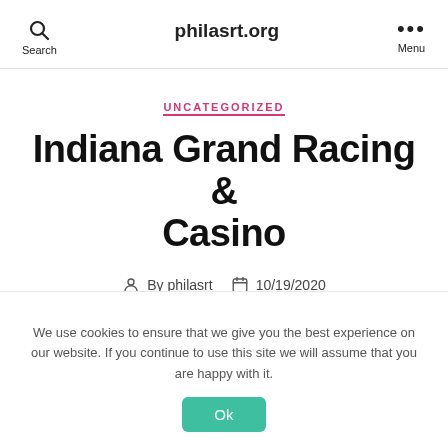philasrt.org
UNCATEGORIZED
Indiana Grand Racing & Casino
By philasrt   10/19/2020
We use cookies to ensure that we give you the best experience on our website. If you continue to use this site we will assume that you are happy with it.